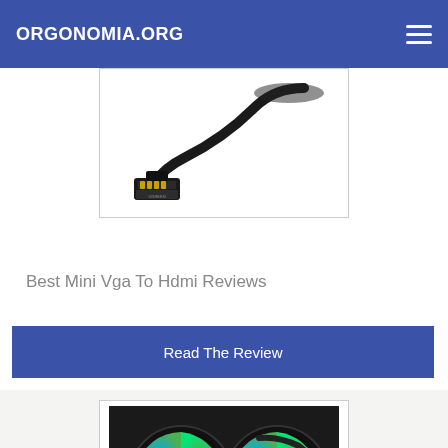ORGONOMIA.ORG
[Figure (photo): Black HDMI cable with gold-tipped connector on white background]
Best Mini Vga To Hdmi Reviews
Read The Review
[Figure (photo): PC liquid cooler with two RGB fans with colorful rainbow lighting and black tubing]